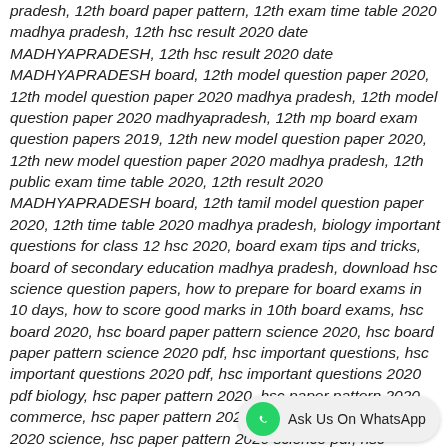pradesh, 12th board paper pattern, 12th exam time table 2020 madhya pradesh, 12th hsc result 2020 date MADHYAPRADESH, 12th hsc result 2020 date MADHYAPRADESH board, 12th model question paper 2020, 12th model question paper 2020 madhya pradesh, 12th model question paper 2020 madhyapradesh, 12th mp board exam question papers 2019, 12th new model question paper 2020, 12th new model question paper 2020 madhya pradesh, 12th public exam time table 2020, 12th result 2020 MADHYAPRADESH board, 12th tamil model question paper 2020, 12th time table 2020 madhya pradesh, biology important questions for class 12 hsc 2020, board exam tips and tricks, board of secondary education madhya pradesh, download hsc science question papers, how to prepare for board exams in 10 days, how to score good marks in 10th board exams, hsc board 2020, hsc board paper pattern science 2020, hsc board paper pattern science 2020 pdf, hsc important questions, hsc important questions 2020 pdf, hsc important questions 2020 pdf biology, hsc paper pattern 2020, hsc paper pattern 2020 commerce, hsc paper pattern 2020 pdf, hsc paper pattern 2020 science, hsc paper pattern 2020 science pdf, hsc question papers, hsc question papers MADHYAPRADESH board science with